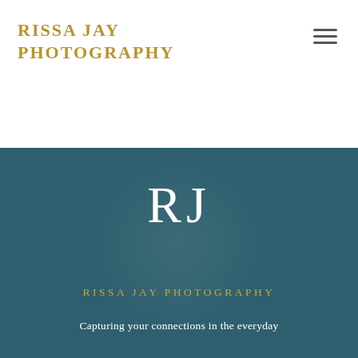RISSA JAY PHOTOGRAPHY
[Figure (logo): Hamburger menu icon with three horizontal lines]
[Figure (logo): RJ monogram in white serif font on dark teal background with subtle circular watermark]
RISSA JAY PHOTOGRAPHY
Capturing your connections in the everyday